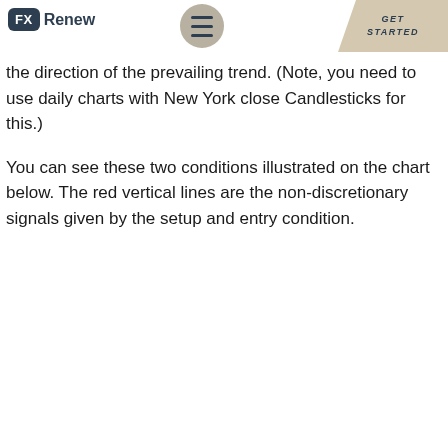FX Renew
the direction of the prevailing trend. (Note, you need to use daily charts with New York close Candlesticks for this.)
You can see these two conditions illustrated on the chart below. The red vertical lines are the non-discretionary signals given by the setup and entry condition.